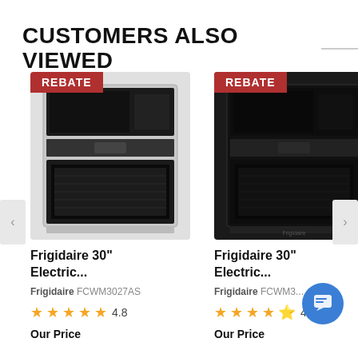CUSTOMERS ALSO VIEWED
[Figure (photo): Frigidaire 30-inch stainless steel electric wall oven/microwave combo with REBATE badge]
Frigidaire 30" Electric...
Frigidaire FCWM3027AS
4.8 stars
Our Price
[Figure (photo): Frigidaire 30-inch black electric wall oven/microwave combo with REBATE badge]
Frigidaire 30" Electric...
Frigidaire FCWM3...
4.4 stars
Our Price